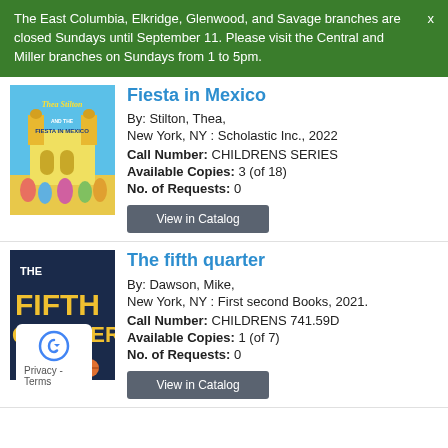The East Columbia, Elkridge, Glenwood, and Savage branches are closed Sundays until September 11. Please visit the Central and Miller branches on Sundays from 1 to 5pm.
Fiesta in Mexico
By: Stilton, Thea, New York, NY : Scholastic Inc., 2022
Call Number: CHILDRENS SERIES
Available Copies: 3 (of 18)
No. of Requests: 0
[Figure (illustration): Book cover for Thea Stilton and the Fiesta in Mexico]
The fifth quarter
By: Dawson, Mike, New York, NY : First second Books, 2021.
Call Number: CHILDRENS 741.59D
Available Copies: 1 (of 7)
No. of Requests: 0
[Figure (illustration): Book cover for The Fifth Quarter]